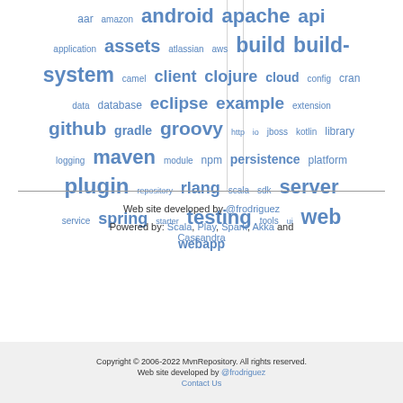[Figure (other): Tag cloud / word cloud of Maven repository categories. Words in varying sizes indicate frequency/popularity. All words are in blue. Words include: aar, amazon, android, apache, api, application, assets, atlassian, aws, build, build-system, camel, client, clojure, cloud, config, cran, data, database, eclipse, example, extension, github, gradle, groovy, http, io, jboss, kotlin, library, logging, maven, module, npm, persistence, platform, plugin, repository, rlang, scala, sdk, server, service, spring, starter, testing, tools, ui, web, webapp]
Web site developed by @frodriguez
Powered by: Scala, Play, Spark, Akka and Cassandra
Copyright © 2006-2022 MvnRepository. All rights reserved. Web site developed by @frodriguez Contact Us